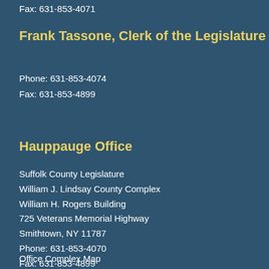Fax: 631-853-4071
Frank Tassone, Clerk of the Legislature
Phone: 631-853-4074
Fax: 631-853-4899
Hauppauge Office
Suffolk County Legislature
William J. Lindsay County Complex
William H. Rogers Building
725 Veterans Memorial Highway
Smithtown, NY 11787
Phone: 631-853-4070
Fax: 631-853-4899
Office Complex Map